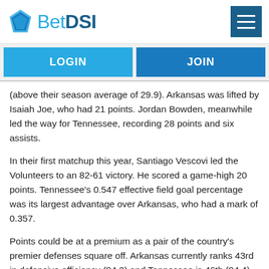BetDSI
LOGIN
JOIN
(above their season average of 29.9). Arkansas was lifted by Isaiah Joe, who had 21 points. Jordan Bowden, meanwhile led the way for Tennessee, recording 28 points and six assists.
In their first matchup this year, Santiago Vescovi led the Volunteers to an 82-61 victory. He scored a game-high 20 points. Tennessee's 0.547 effective field goal percentage was its largest advantage over Arkansas, who had a mark of 0.357.
Points could be at a premium as a pair of the country's premier defenses square off. Arkansas currently ranks 43rd in defensive efficiency (94.2) and Tennessee is 46th (94.4). It could also be a mistake-prone game for the offense of the Volunteers, which ranks 302nd in ball protection (turnover percentage of 21.1